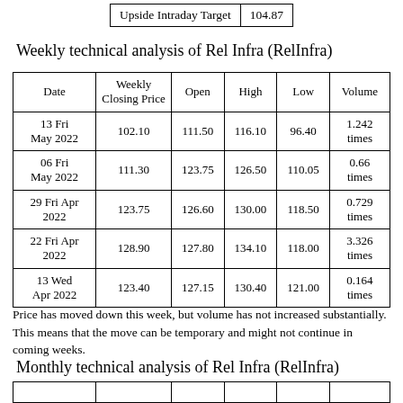| Upside Intraday Target | 104.87 |
| --- | --- |
Weekly technical analysis of Rel Infra (RelInfra)
| Date | Weekly Closing Price | Open | High | Low | Volume |
| --- | --- | --- | --- | --- | --- |
| 13 Fri May 2022 | 102.10 | 111.50 | 116.10 | 96.40 | 1.242 times |
| 06 Fri May 2022 | 111.30 | 123.75 | 126.50 | 110.05 | 0.66 times |
| 29 Fri Apr 2022 | 123.75 | 126.60 | 130.00 | 118.50 | 0.729 times |
| 22 Fri Apr 2022 | 128.90 | 127.80 | 134.10 | 118.00 | 3.326 times |
| 13 Wed Apr 2022 | 123.40 | 127.15 | 130.40 | 121.00 | 0.164 times |
Price has moved down this week, but volume has not increased substantially. This means that the move can be temporary and might not continue in coming weeks.
Monthly technical analysis of Rel Infra (RelInfra)